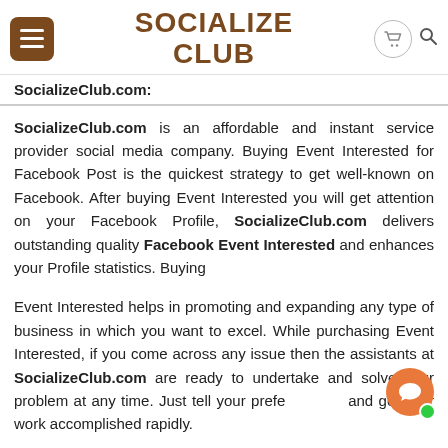SOCIALIZE CLUB
SocializeClub.com:
SocializeClub.com is an affordable and instant service provider social media company. Buying Event Interested for Facebook Post is the quickest strategy to get well-known on Facebook. After buying Event Interested you will get attention on your Facebook Profile, SocializeClub.com delivers outstanding quality Facebook Event Interested and enhances your Profile statistics. Buying
Event Interested helps in promoting and expanding any type of business in which you want to excel. While purchasing Event Interested, if you come across any issue then the assistants at SocializeClub.com are ready to undertake and solve your problem at any time. Just tell your prefe... and get your work accomplished rapidly.